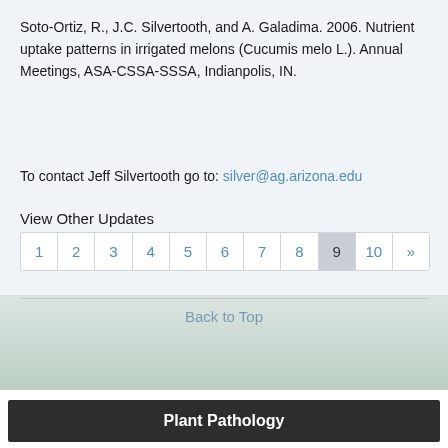Soto-Ortiz, R., J.C. Silvertooth, and A. Galadima.  2006.  Nutrient uptake patterns in irrigated melons (Cucumis melo L.).  Annual Meetings, ASA-CSSA-SSSA, Indianpolis, IN.
To contact Jeff Silvertooth go to: silver@ag.arizona.edu
View Other Updates
1  2  3  4  5  6  7  8  9  10  »
Back to Top
Plant Pathology
Aug 24, 2022
2022 Powdery Mildew of Melon